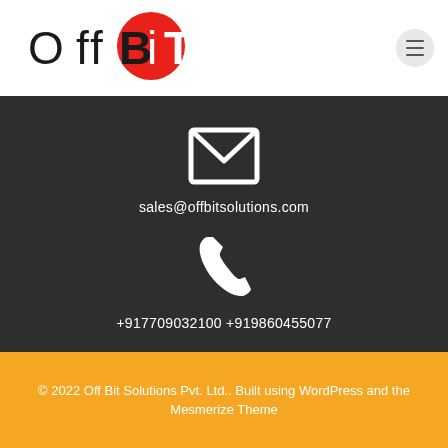[Figure (logo): Off Bit logo: text 'Off BiT' with a red circle behind 'iT' letters]
[Figure (illustration): Envelope/mail icon in white outline on dark background]
sales@offbitsolutions.com
[Figure (illustration): Phone/telephone icon in white on dark background]
+917709032100 +919860455077
© 2022 Off Bit Solutions Pvt. Ltd.. Built using WordPress and the Mesmerize Theme